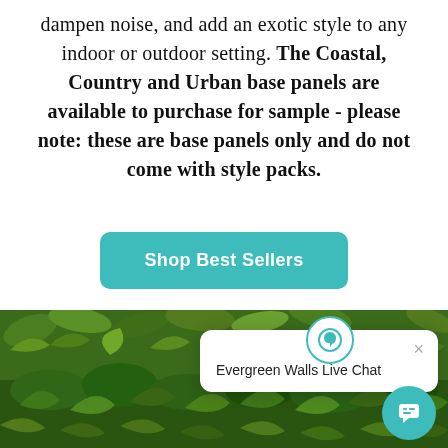dampen noise, and add an exotic style to any indoor or outdoor setting. The Coastal, Country and Urban base panels are available to purchase for sample - please note: these are base panels only and do not come with style packs.
[Figure (other): Teal rounded button labeled 'Shop Best Sellers']
[Figure (photo): Dense green artificial plant wall with various tropical leaf shapes and textures in shades of green]
[Figure (screenshot): Live chat popup widget labeled 'Evergreen Walls Live Chat' with teal leaf icon and close button, plus a teal circular chat bubble button in the corner]